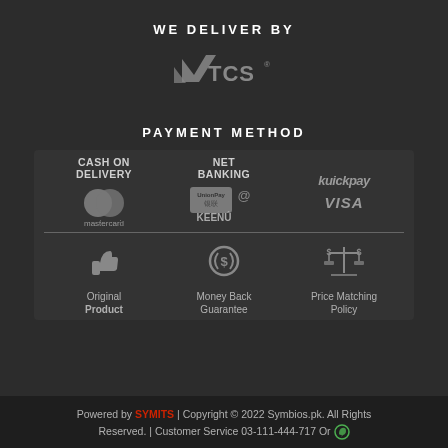WE DELIVER BY
[Figure (logo): TCS courier service logo in grey/silver on dark background]
PAYMENT METHOD
[Figure (infographic): Payment methods grid showing CASH ON DELIVERY, NET BANKING with Mastercard, UnionPay/KEENU logos, and Kuickpay and VISA logos]
[Figure (infographic): Three icons: thumbs up (Original Product), circular arrows with dollar (Money Back Guarantee), balance scale with dollars (Price Matching Policy)]
Powered by SYMITS | Copyright © 2022 Symbios.pk. All Rights Reserved. | Customer Service 03-111-444-717 Or [WhatsApp icon]